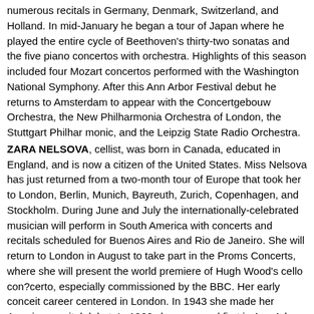numerous recitals in Germany, Denmark, Switzerland, and Holland. In mid-January he began a tour of Japan where he played the entire cycle of Beethoven's thirty-two sonatas and the five piano concertos with orchestra. Highlights of this season included four Mozart concertos performed with the Washington National Symphony. After this Ann Arbor Festival debut he returns to Amsterdam to appear with the Concertgebouw Orchestra, the New Philharmonia Orchestra of London, the Stuttgart Philharmonic, and the Leipzig State Radio Orchestra.
ZARA NELSOVA, cellist, was born in Canada, educated in England, and is now a citizen of the United States. Miss Nelsova has just returned from a two-month tour of Europe that took her to London, Berlin, Munich, Bayreuth, Zurich, Copenhagen, and Stockholm. During June and July the internationally-celebrated musician will perform in South America with concerts and recitals scheduled for Buenos Aires and Rio de Janeiro. She will return to London in August to take part in the Proms Concerts, where she will present the world premiere of Hugh Wood's cello con?certo, especially commissioned by the BBC. Her early conceit career centered in London. In 1943 she made her American recital debut. In 1966 she appeared first in Ann Arbor in joint recital with her husband Grant Johannesen.
GLENN D. M. SESCH...